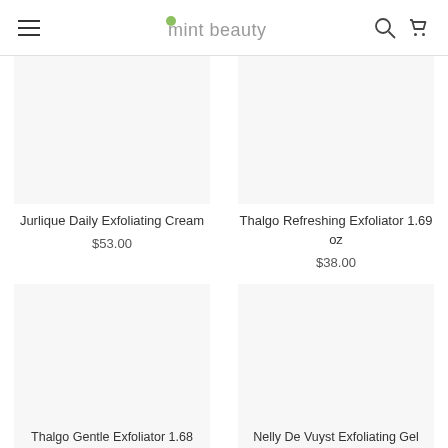mint beauty
[Figure (photo): Product image placeholder for Jurlique Daily Exfoliating Cream]
Jurlique Daily Exfoliating Cream
$53.00
[Figure (photo): Product image placeholder for Thalgo Refreshing Exfoliator 1.69 oz]
Thalgo Refreshing Exfoliator 1.69 oz
$38.00
[Figure (photo): Product image placeholder for Thalgo Gentle Exfoliator 1.68]
Thalgo Gentle Exfoliator 1.68
[Figure (photo): Product image placeholder for Nelly De Vuyst Exfoliating Gel]
Nelly De Vuyst Exfoliating Gel